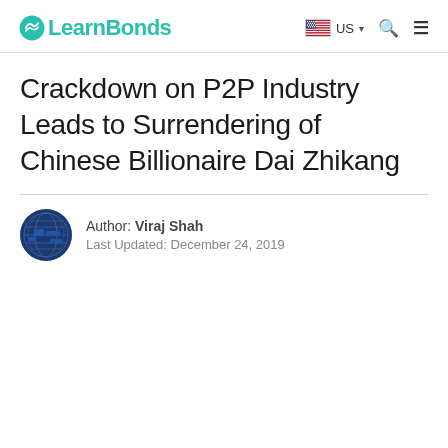LearnBonds — US navigation
Crackdown on P2P Industry Leads to Surrendering of Chinese Billionaire Dai Zhikang
Author: Viraj Shah
Last Updated: December 24, 2019